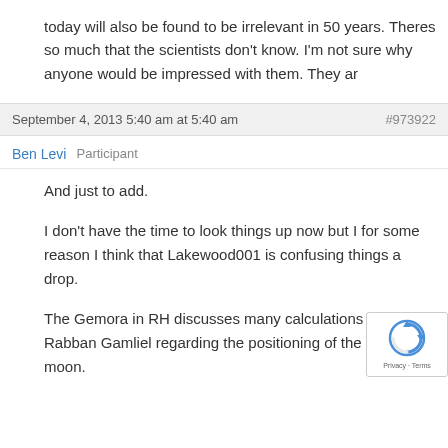today will also be found to be irrelevant in 50 years. Theres so much that the scientists don't know. I'm not sure why anyone would be impressed with them. They ar
September 4, 2013 5:40 am at 5:40 am  #973922
Ben Levi  Participant
And just to add.

I don't have the time to look things up now but I for some reason I think that Lakewood001 is confusing things a drop.

The Gemora in RH discusses many calculations of Rabban Gamliel regarding the positioning of the moon.